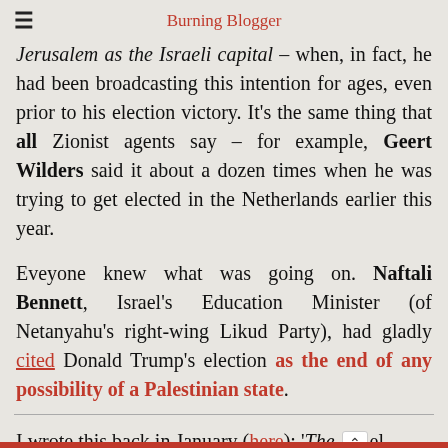Burning Blogger
Jerusalem as the Israeli capital – when, in fact, he had been broadcasting this intention for ages, even prior to his election victory. It's the same thing that all Zionist agents say – for example, Geert Wilders said it about a dozen times when he was trying to get elected in the Netherlands earlier this year.
Eveyone knew what was going on. Naftali Bennett, Israel's Education Minister (of Netanyahu's right-wing Likud Party), had gladly cited Donald Trump's election as the end of any possibility of a Palestinian state.
I wrote this back in January (here); 'The [el